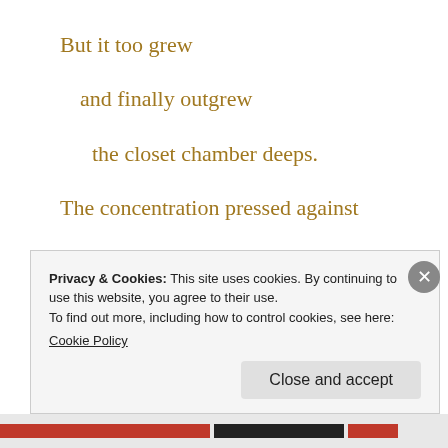But it too grew
and finally outgrew
the closet chamber deeps.
The concentration pressed against
the world of consciousness
Privacy & Cookies: This site uses cookies. By continuing to use this website, you agree to their use.
To find out more, including how to control cookies, see here:
Cookie Policy